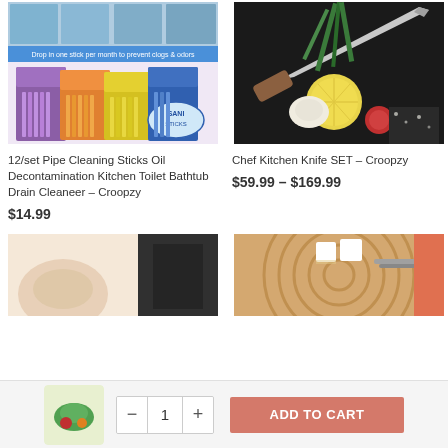[Figure (photo): Product image of Sani Sticks pipe cleaning drain sticks in multiple colors with packaging showing how to use]
12/set Pipe Cleaning Sticks Oil Decontamination Kitchen Toilet Bathtub Drain Cleaneer – Croopzy
$14.99
[Figure (photo): Chef kitchen knife on dark background with herbs, lemon, garlic and tomato]
Chef Kitchen Knife SET – Croopzy
$59.99 – $169.99
[Figure (photo): Partial bottom-left product image showing feet or hands on white background]
[Figure (photo): Partial bottom-right product image showing white cubes on wooden tray]
[Figure (photo): Small thumbnail of food/cutting board product]
ADD TO CART